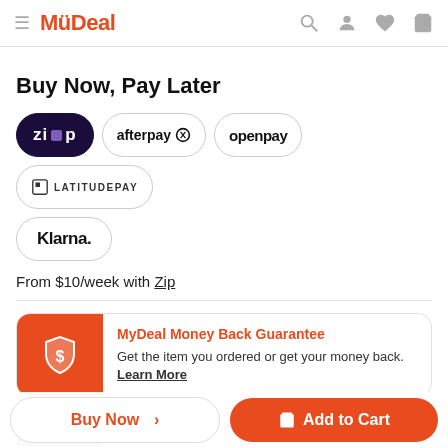MyDeal — navigation header with hamburger menu, logo, search, profile, wishlist, cart icons
Buy Now, Pay Later
[Figure (logo): Payment method logos: Zip (dark pill), Afterpay, Openpay, Latitude Pay, Klarna]
From $10/week with Zip
MyDeal Money Back Guarantee — Get the item you ordered or get your money back. Learn More
Proudly growing a MyDeal Forest
Buy Now > | Add to Cart